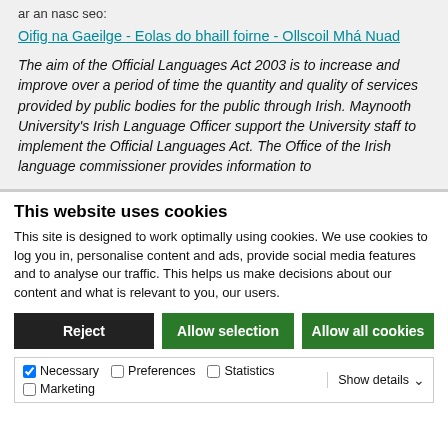ar an nasc seo:
Oifig na Gaeilge - Eolas do bhaill foirne - Ollscoil Mhá Nuad
The aim of the Official Languages Act 2003 is to increase and improve over a period of time the quantity and quality of services provided by public bodies for the public through Irish. Maynooth University's Irish Language Officer support the University staff to implement the Official Languages Act. The Office of the Irish language commissioner provides information to
This website uses cookies
This site is designed to work optimally using cookies. We use cookies to log you in, personalise content and ads, provide social media features and to analyse our traffic. This helps us make decisions about our content and what is relevant to you, our users.
Reject | Allow selection | Allow all cookies
Necessary | Preferences | Statistics | Marketing | Show details